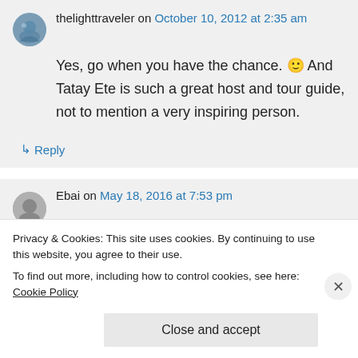thelighttraveler on October 10, 2012 at 2:35 am
Yes, go when you have the chance. 🙂 And Tatay Ete is such a great host and tour guide, not to mention a very inspiring person.
↳ Reply
Ebai on May 18, 2016 at 7:53 pm
Privacy & Cookies: This site uses cookies. By continuing to use this website, you agree to their use. To find out more, including how to control cookies, see here: Cookie Policy
Close and accept